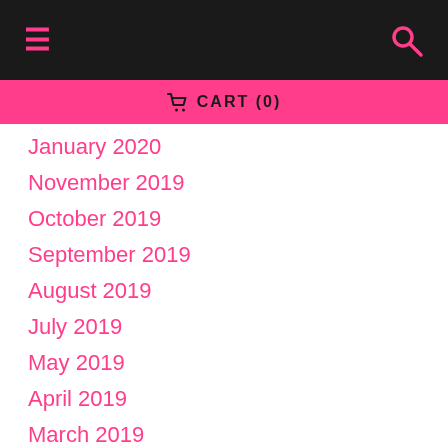≡ [search icon]
🛒 CART (0)
January 2020
November 2019
October 2019
September 2019
August 2019
July 2019
May 2019
April 2019
March 2019
February 2019
January 2019
November 2018
October 2018
August 2018
July 2018